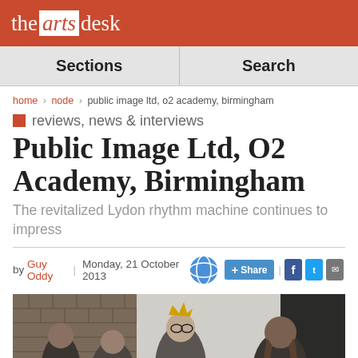the arts desk
Sections  |  Search
home > node > public image ltd, o2 academy, birmingham
reviews, news & interviews
Public Image Ltd, O2 Academy, Birmingham
The revitalized Lydon rhythm machine continues to impress
by Guy Oddy | Monday, 21 October 2013
[Figure (photo): Band photo of Public Image Ltd — four men standing against a brick wall and white background]